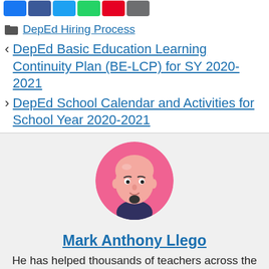[Figure (screenshot): Social media share buttons (blue, dark blue, light blue, green, red, grey)]
DepEd Hiring Process
DepEd Basic Education Learning Continuity Plan (BE-LCP) for SY 2020-2021
DepEd School Calendar and Activities for School Year 2020-2021
[Figure (illustration): Avatar illustration of a bald man with a beard wearing a dark shirt, on a pink circular background]
Mark Anthony Llego
He has helped thousands of teachers across the country access information about their field and